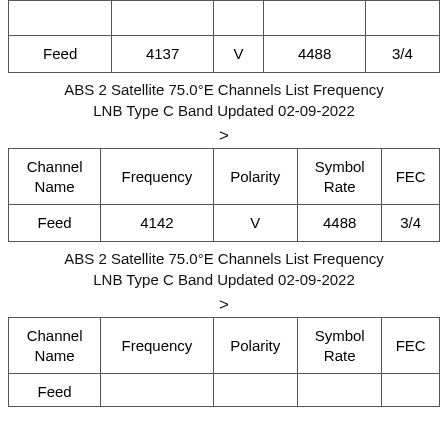| Channel Name | Frequency | Polarity | Symbol Rate | FEC |
| --- | --- | --- | --- | --- |
| Feed | 4137 | V | 4488 | 3/4 |
ABS 2 Satellite 75.0°E Channels List Frequency LNB Type C Band Updated 02-09-2022
>
| Channel Name | Frequency | Polarity | Symbol Rate | FEC |
| --- | --- | --- | --- | --- |
| Feed | 4142 | V | 4488 | 3/4 |
ABS 2 Satellite 75.0°E Channels List Frequency LNB Type C Band Updated 02-09-2022
>
| Channel Name | Frequency | Polarity | Symbol Rate | FEC |
| --- | --- | --- | --- | --- |
| Feed | 4142 | V | 4488 | 3/4 |